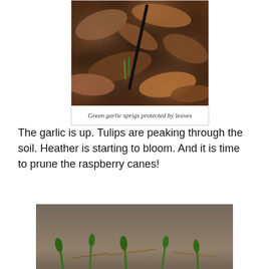[Figure (photo): Close-up photo of dried brown autumn leaves on soil, with a dark stick/cane visible and small green garlic sprigs emerging through the leaf mulch]
Green garlic sprigs protected by leaves
The garlic is up. Tulips are peaking through the soil. Heather is starting to bloom. And it is time to prune the raspberry canes!
[Figure (photo): Photo of garden soil with small green tulip sprigs and shoots emerging, with dried twigs and plant debris on the ground]